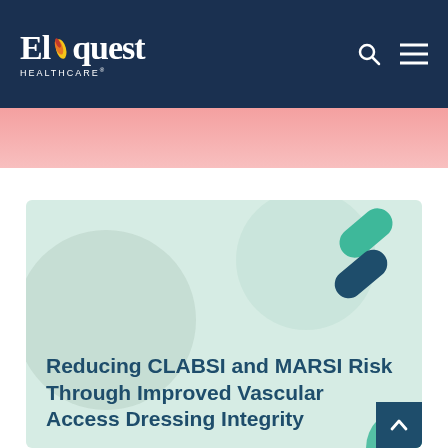Eloquest HEALTHCARE
[Figure (illustration): Pink/salmon gradient banner strip below navigation header]
[Figure (illustration): Article card with light green/mint background featuring decorative pill/capsule shapes in teal and dark navy, and a scroll-to-top button in the bottom-right corner]
Reducing CLABSI and MARSI Risk Through Improved Vascular Access Dressing Integrity